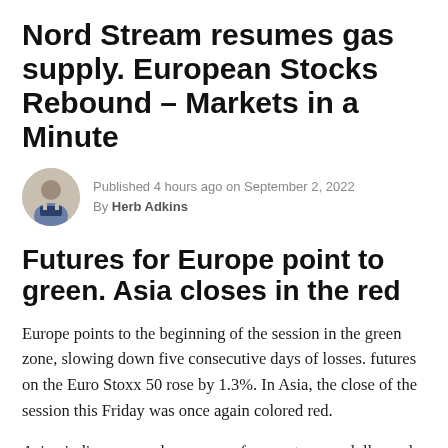Nord Stream resumes gas supply. European Stocks Rebound – Markets in a Minute
Published 4 hours ago on September 2, 2022
By Herb Adkins
Futures for Europe point to green. Asia closes in the red
Europe points to the beginning of the session in the green zone, slowing down five consecutive days of losses. futures on the Euro Stoxx 50 rose by 1.3%. In Asia, the close of the session this Friday was once again colored red.
Asian indices are under pressure from a stronger dollar and a lockdown announced this week in one of China's